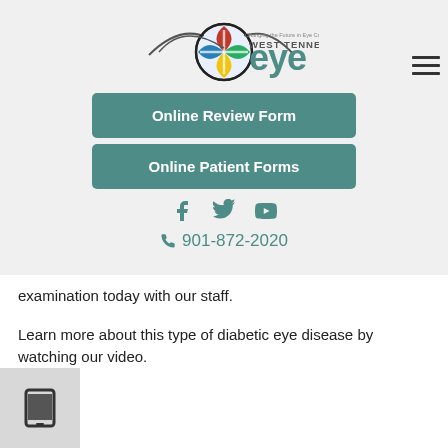[Figure (logo): West Tennessee Eye logo with stylized eye graphic and tagline 'Changing the Future in Eye Care']
[Figure (other): Hamburger menu icon (three horizontal lines) on the right side]
Online Review Form
Online Patient Forms
[Figure (other): Social media icons: Facebook, Twitter, YouTube]
📞 901-872-2020
examination today with our staff.
Learn more about this type of diabetic eye disease by watching our video.
[Figure (other): Mobile/tablet device icon in a grey box at the bottom left]